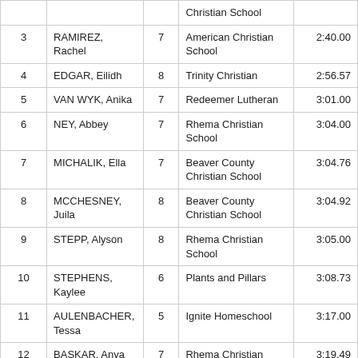| Place | Name | Grade | School | Time |
| --- | --- | --- | --- | --- |
|  |  |  | Christian School |  |
| 3 | RAMIREZ, Rachel | 7 | American Christian School | 2:40.00 |
| 4 | EDGAR, Eilidh | 8 | Trinity Christian | 2:56.57 |
| 5 | VAN WYK, Anika | 7 | Redeemer Lutheran | 3:01.00 |
| 6 | NEY, Abbey | 7 | Rhema Christian School | 3:04.00 |
| 7 | MICHALIK, Ella | 7 | Beaver County Christian School | 3:04.76 |
| 8 | MCCHESNEY, Juila | 8 | Beaver County Christian School | 3:04.92 |
| 9 | STEPP, Alyson | 8 | Rhema Christian School | 3:05.00 |
| 10 | STEPHENS, Kaylee | 6 | Plants and Pillars | 3:08.73 |
| 11 | AULENBACHER, Tessa | 5 | Ignite Homeschool | 3:17.00 |
| 12 | BASKAR, Anya | 7 | Rhema Christian School | 3:19.49 |
| 13 | WILT, Ava | 5 | Ignite Homeschool | 3:21.00 |